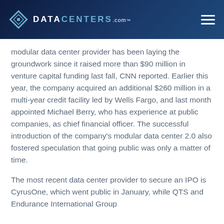DATACENTERS.com
modular data center provider has been laying the groundwork since it raised more than $90 million in venture capital funding last fall, CNN reported. Earlier this year, the company acquired an additional $260 million in a multi-year credit facility led by Wells Fargo, and last month appointed Michael Berry, who has experience at public companies, as chief financial officer. The successful introduction of the company’s modular data center 2.0 also fostered speculation that going public was only a matter of time.
The most recent data center provider to secure an IPO is CyrusOne, which went public in January, while QTS and Endurance International Group